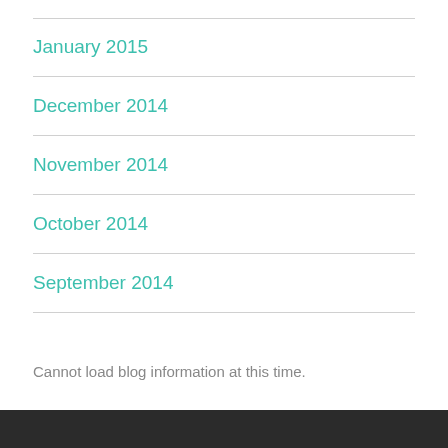January 2015
December 2014
November 2014
October 2014
September 2014
Cannot load blog information at this time.